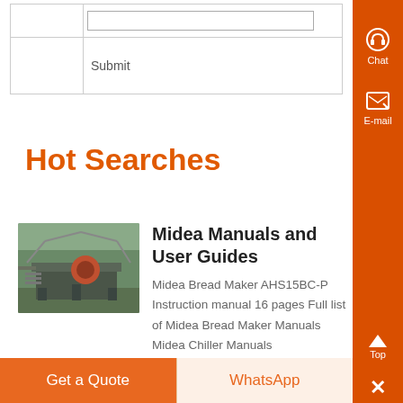|  |  |
|  | Submit |
Hot Searches
[Figure (photo): Industrial mining/crushing equipment machinery outdoors]
Midea Manuals and User Guides
Midea Bread Maker AHS15BC-P Instruction manual 16 pages Full list of Midea Bread Maker Manuals Midea Chiller Manuals